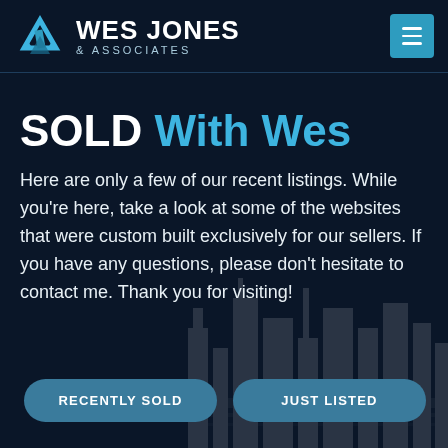WES JONES & ASSOCIATES
SOLD With Wes
Here are only a few of our recent listings. While you're here, take a look at some of the websites that were custom built exclusively for our sellers. If you have any questions, please don't hesitate to contact me. Thank you for visiting!
RECENTLY SOLD
JUST LISTED